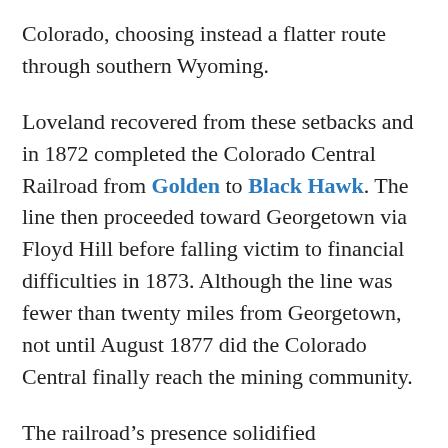Colorado, choosing instead a flatter route through southern Wyoming.
Loveland recovered from these setbacks and in 1872 completed the Colorado Central Railroad from Golden to Black Hawk. The line then proceeded toward Georgetown via Floyd Hill before falling victim to financial difficulties in 1873. Although the line was fewer than twenty miles from Georgetown, not until August 1877 did the Colorado Central finally reach the mining community.
The railroad's presence solidified Georgetown as the “Silver Queen of the Rockies.” As the seat of Clear Creek County, Georgetown developed as an